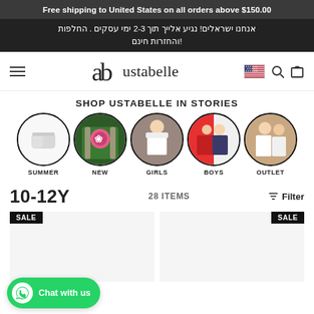Free shipping to United States on all orders above $150.00
אנחנו ישראלים! נגיע אלייך תוך 2-3 ימי עסקים . החלפות והחזרות חינם!
[Figure (logo): Ustabelle logo with stylized 'ab' icon]
SHOP USTABELLE IN STORIES
[Figure (infographic): Five circular story thumbnails: SUMMER (white shorts), NEW (floral jacket), GIRLS (girl in white), BOYS (boy in plaid), OUTLET (kids in white)]
10-12Y
28 ITEMS
Filter
[Figure (photo): Product card with SALE badge]
[Figure (photo): Product card with SALE badge]
Chat with us